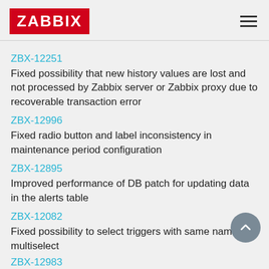ZABBIX
ZBX-12251
Fixed possibility that new history values are lost and not processed by Zabbix server or Zabbix proxy due to recoverable transaction error
ZBX-12996
Fixed radio button and label inconsistency in maintenance period configuration
ZBX-12895
Improved performance of DB patch for updating data in the alerts table
ZBX-12082
Fixed possibility to select triggers with same name in multiselect
ZBX-12983